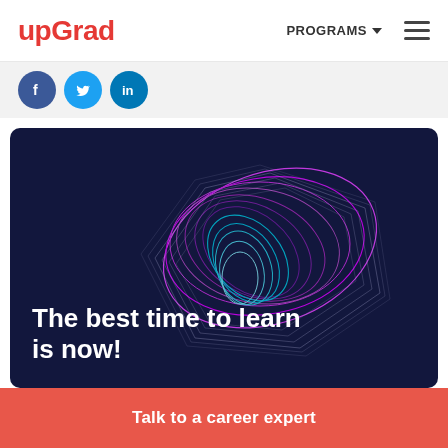upGrad | PROGRAMS ☰
[Figure (illustration): Social media icons: Facebook (blue circle with f), Twitter (light blue circle with bird), LinkedIn (teal circle with in)]
[Figure (illustration): Dark navy hero banner with abstract multicolored wireframe spiral/vortex shape in pink, purple, and teal lines. Text overlay: 'The best time to learn is now!']
The best time to learn is now!
Talk to a career expert